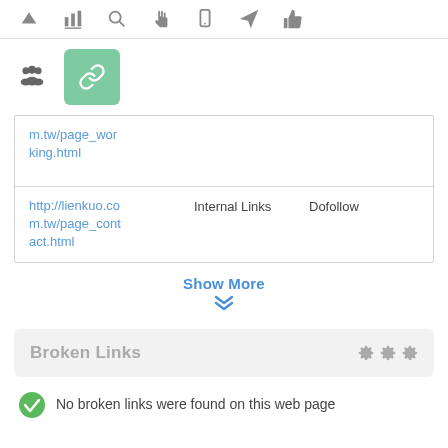[Figure (screenshot): Top navigation toolbar with icons: up arrow, bar chart, search, hand pointer, mobile, send/rocket, thumbs up]
[Figure (screenshot): Second icon row with group/people icon and a green box with chain/link icon]
| m.tw/page_working.html |  |  |
| http://lienkuo.com.tw/page_contact.html | Internal Links | Dofollow |
Show More
Broken Links
No broken links were found on this web page